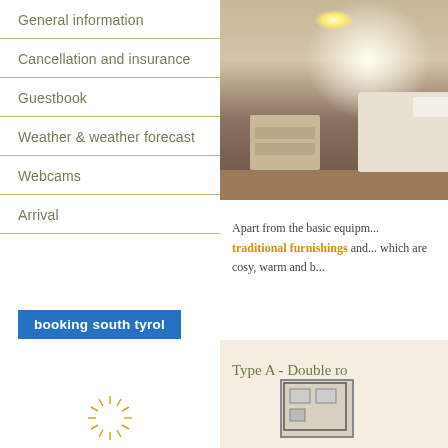General information
Cancellation and insurance
Guestbook
Weather & weather forecast
Webcams
Arrival
[Figure (logo): booking south tyrol blue button logo]
[Figure (logo): Schenna in Merano and Environs logo with sun icon]
[Figure (photo): Bedroom photo with nightstand, wall lamp, and bed]
Apart from the basic equipm... traditional furnishings and... which are cosy, warm and b...
[Figure (other): Type A - Double room panel with floor plan illustration]